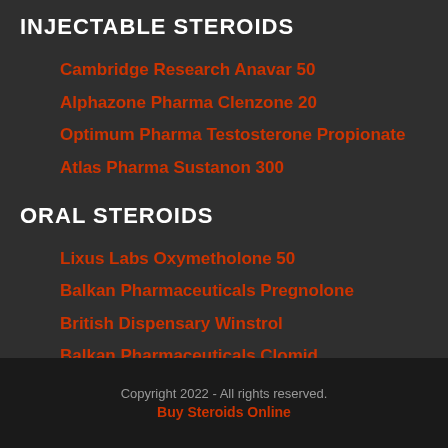INJECTABLE STEROIDS
Cambridge Research Anavar 50
Alphazone Pharma Clenzone 20
Optimum Pharma Testosterone Propionate
Atlas Pharma Sustanon 300
ORAL STEROIDS
Lixus Labs Oxymetholone 50
Balkan Pharmaceuticals Pregnolone
British Dispensary Winstrol
Balkan Pharmaceuticals Clomid
Copyright 2022 - All rights reserved.
Buy Steroids Online